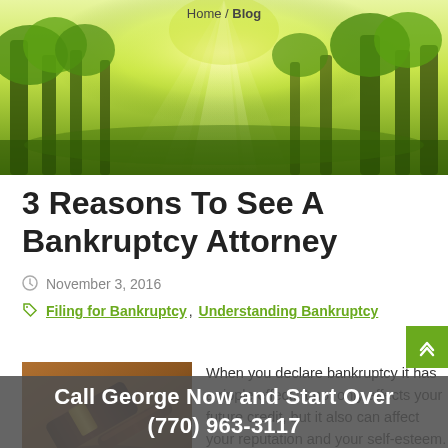Home / Blog
[Figure (photo): Sunlit forest with green trees and light rays shining through the canopy]
3 Reasons To See A Bankruptcy Attorney
November 3, 2016
Filing for Bankruptcy, Understanding Bankruptcy
[Figure (photo): Close-up of a wooden judge's gavel on a dark surface]
When you declare bankruptcy it has a ripple effect. It not only affects your future credit, but it also can affect your reputation and your self-esteem. When it comes to rebuilding your credit after bankruptcy, it's typically difficult to rebuild your credit
Call George Now and Start Over
(770) 963-3117